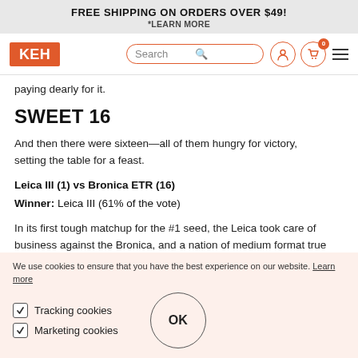FREE SHIPPING ON ORDERS OVER $49!
*LEARN MORE
[Figure (screenshot): KEH camera store navigation bar with logo, search box, user icon, cart icon with 0 badge, and hamburger menu]
paying dearly for it.
SWEET 16
And then there were sixteen—all of them hungry for victory, setting the table for a feast.
Leica III (1) vs Bronica ETR (16)
Winner: Leica III (61% of the vote)
In its first tough matchup for the #1 seed, the Leica took care of business against the Bronica, and a nation of medium format true
We use cookies to ensure that you have the best experience on our website. Learn more
☑ Tracking cookies
☑ Marketing cookies
OK